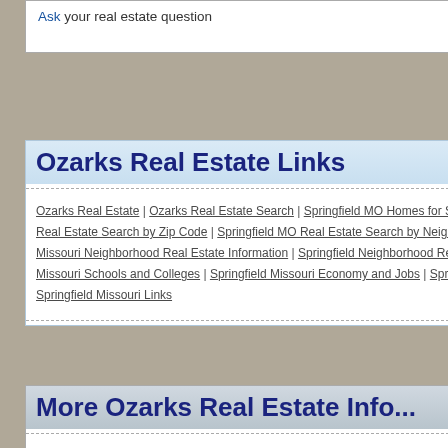Ask your real estate question
Ozarks Real Estate Links
Ozarks Real Estate | Ozarks Real Estate Search | Springfield MO Homes for Sale | Springfield Real Estate Search by Zip Code | Springfield MO Real Estate Search by Neighborhood | Springfield Missouri Neighborhood Real Estate Information | Springfield Neighborhood Real Estate Trends | Missouri Schools and Colleges | Springfield Missouri Economy and Jobs | Springfield Missouri H... Springfield Missouri Links
More Ozarks Real Estate Info...
OzarksHomeHunter.com offers real estate listings for thousands of homes for sale in the and other real estate properties. Find your home with OzarksHomeHunter.com.
Use our real estate search to find your next home in the Ozarks, including: Springfield, N homes for sale, tips for buying or selling a home, and tips for maintaining your home. Fi... sale.
OzarksHomeHunter.com makes it easy to find homes for sales, compare listings, view re